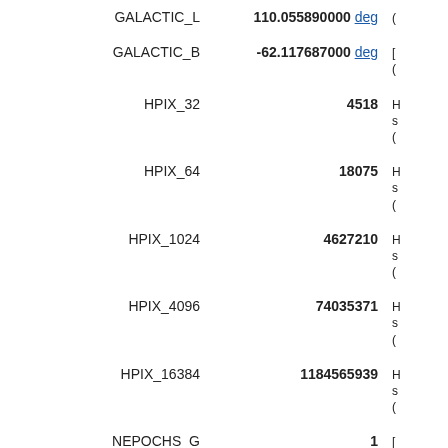| Name | Value | Description |
| --- | --- | --- |
| GALACTIC_L | 110.055890000 deg |  |
| GALACTIC_B | -62.117687000 deg |  |
| HPIX_32 | 4518 |  |
| HPIX_64 | 18075 |  |
| HPIX_1024 | 4627210 |  |
| HPIX_4096 | 74035371 |  |
| HPIX_16384 | 1184565939 |  |
| NEPOCHS_G | 1 |  |